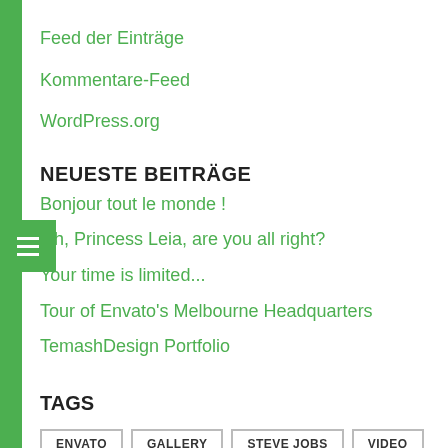Feed der Einträge
Kommentare-Feed
WordPress.org
NEUESTE BEITRÄGE
Bonjour tout le monde !
Oh, Princess Leia, are you all right?
Your time is limited...
Tour of Envato's Melbourne Headquarters
TemashDesign Portfolio
TAGS
ENVATO
GALLERY
STEVE JOBS
VIDEO